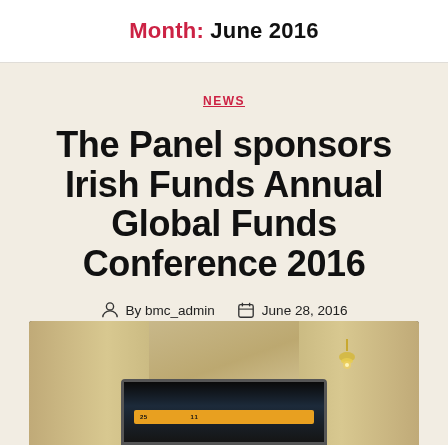Month: June 2016
NEWS
The Panel sponsors Irish Funds Annual Global Funds Conference 2016
By bmc_admin  June 28, 2016
[Figure (photo): Interior of a conference room with wood-paneled walls and a TV screen displaying a presentation with an orange bar at the bottom]